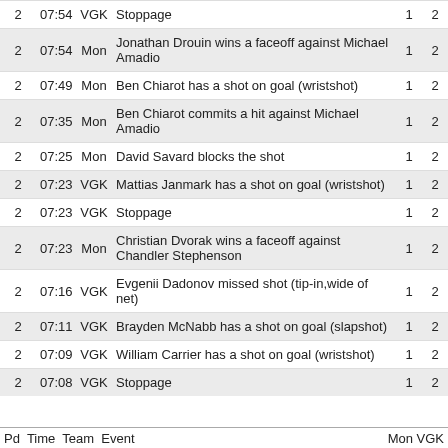| Pd | Time | Team | Event | Mon | VGK |
| --- | --- | --- | --- | --- | --- |
| 2 | 07:54 | VGK | Stoppage | 1 | 2 |
| 2 | 07:54 | Mon | Jonathan Drouin wins a faceoff against Michael Amadio | 1 | 2 |
| 2 | 07:49 | Mon | Ben Chiarot has a shot on goal (wristshot) | 1 | 2 |
| 2 | 07:35 | Mon | Ben Chiarot commits a hit against Michael Amadio | 1 | 2 |
| 2 | 07:25 | Mon | David Savard blocks the shot | 1 | 2 |
| 2 | 07:23 | VGK | Mattias Janmark has a shot on goal (wristshot) | 1 | 2 |
| 2 | 07:23 | VGK | Stoppage | 1 | 2 |
| 2 | 07:23 | Mon | Christian Dvorak wins a faceoff against Chandler Stephenson | 1 | 2 |
| 2 | 07:16 | VGK | Evgenii Dadonov missed shot (tip-in,wide of net) | 1 | 2 |
| 2 | 07:11 | VGK | Brayden McNabb has a shot on goal (slapshot) | 1 | 2 |
| 2 | 07:09 | VGK | William Carrier has a shot on goal (wristshot) | 1 | 2 |
| 2 | 07:08 | VGK | Stoppage | 1 | 2 |
Pd  Time  Team  Event                                                    Mon VGK